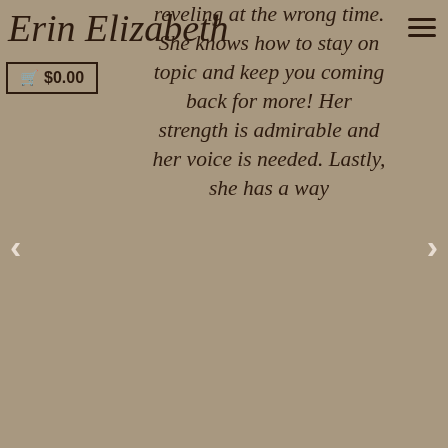Erin Elizabeth
$0.00
reveling at the wrong time. She knows how to stay on topic and keep you coming back for more! Her strength is admirable and her voice is needed. Lastly, she has a way